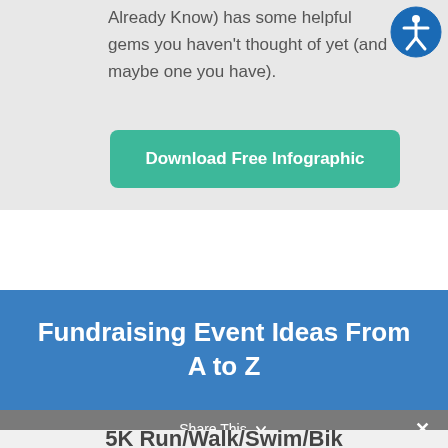Already Know) has some helpful gems you haven't thought of yet (and maybe one you have).
[Figure (logo): Accessibility icon — blue circle with white human figure symbol]
Download Free Infographic
Fundraising Event Ideas From A to Z
Share This  ×
5K Run/Walk/Swim/Bik...